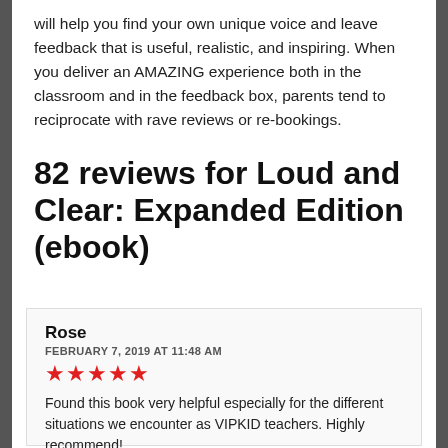will help you find your own unique voice and leave feedback that is useful, realistic, and inspiring. When you deliver an AMAZING experience both in the classroom and in the feedback box, parents tend to reciprocate with rave reviews or re-bookings.
82 reviews for Loud and Clear: Expanded Edition (ebook)
Rose
FEBRUARY 7, 2019 AT 11:48 AM
★★★★★
Found this book very helpful especially for the different situations we encounter as VIPKID teachers. Highly recommend!